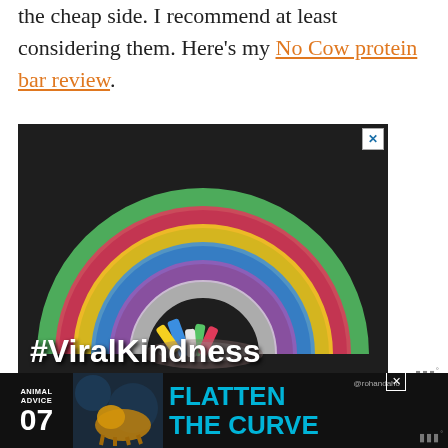the cheap side. I recommend at least considering them. Here's my No Cow protein bar review.
[Figure (photo): Advertisement photo showing a chalk-drawn rainbow on dark pavement with colorful chalk sticks scattered at the base, overlaid with white bold text reading '#ViralKindness']
[Figure (infographic): Bottom banner advertisement with dark background showing 'ANIMAL ADVICE 07' on the left, an illustrated animal graphic in the center-left, and large teal text 'FLATTEN THE CURVE' with a social media handle '@rohandaho']